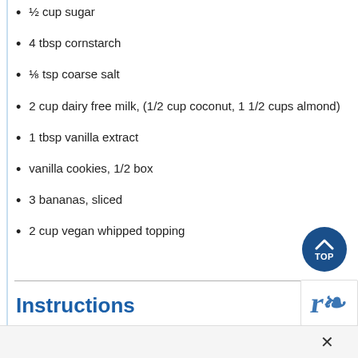½ cup sugar
4 tbsp cornstarch
⅛ tsp coarse salt
2 cup dairy free milk, (1/2 cup coconut, 1 1/2 cups almond)
1 tbsp vanilla extract
vanilla cookies, 1/2 box
3 bananas, sliced
2 cup vegan whipped topping
Instructions